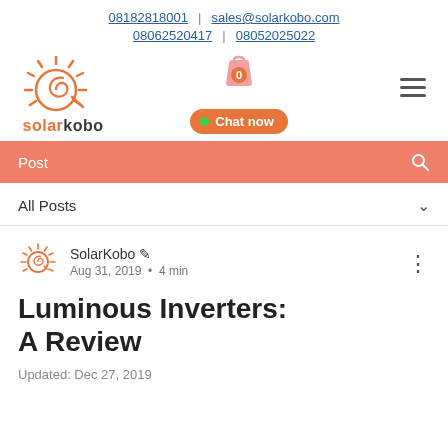08182818001 | sales@solarkobo.com
08062520417 | 08052025022
[Figure (logo): SolarKobo logo: orange sun with spiral and plug, text 'solarkobo' in orange/dark colors]
[Figure (infographic): Shopping cart icon with badge showing 0, Chat now button with green dot, hamburger menu icon]
Post
All Posts
SolarKobo ✏
Aug 31, 2019 • 4 min
Luminous Inverters: A Review
Updated: Dec 27, 2019